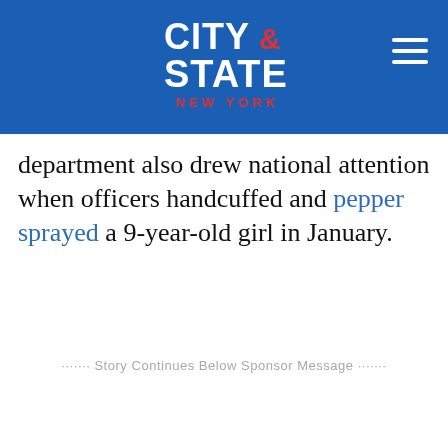City & State New York
department also drew national attention when officers handcuffed and pepper sprayed a 9-year-old girl in January.
·······Story Continues Below Sponsor Message·······